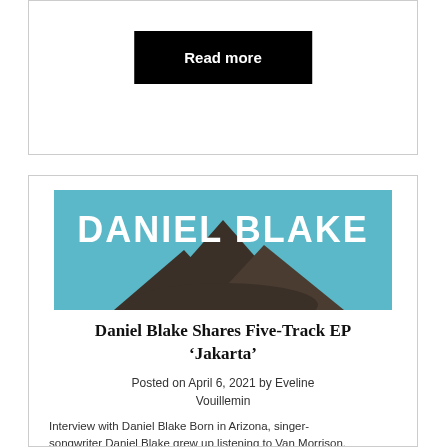[Figure (other): Black button with white bold text 'Read more' centered inside a bordered card]
[Figure (photo): Album art for Daniel Blake EP 'Jakarta' — white bold text 'DANIEL BLAKE' on a teal/blue sky background with a dark rocky mountain silhouette below]
Daniel Blake Shares Five-Track EP ‘Jakarta’
Posted on April 6, 2021 by Eveline Vouillemin
Interview with Daniel Blake Born in Arizona, singer-songwriter Daniel Blake grew up listening to Van Morrison,